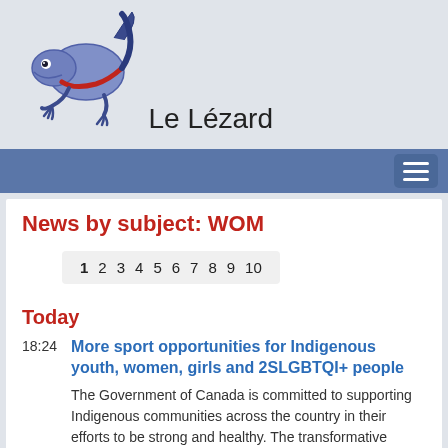[Figure (logo): Le Lézard logo — a blue lizard with red accents]
Le Lézard
Navigation menu bar with hamburger toggle button
News by subject: WOM
1 2 3 4 5 6 7 8 9 10
Today
18:24  More sport opportunities for Indigenous youth, women, girls and 2SLGBTQI+ people
The Government of Canada is committed to supporting Indigenous communities across the country in their efforts to be strong and healthy. The transformative power of sport plays an essential role in